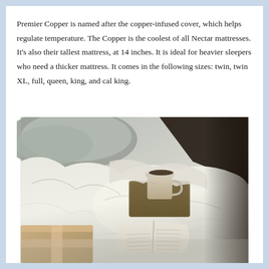Premier Copper is named after the copper-infused cover, which helps regulate temperature. The Copper is the coolest of all Nectar mattresses. It's also their tallest mattress, at 14 inches. It is ideal for heavier sleepers who need a thicker mattress. It comes in the following sizes: twin, twin XL, full, queen, king, and cal king.
[Figure (photo): A cozy bed scene with rumpled white/grey bedding, an open book, a ceramic mug on a wooden tray, and what appears to be a box in the foreground. Dark background visible in upper right corner.]